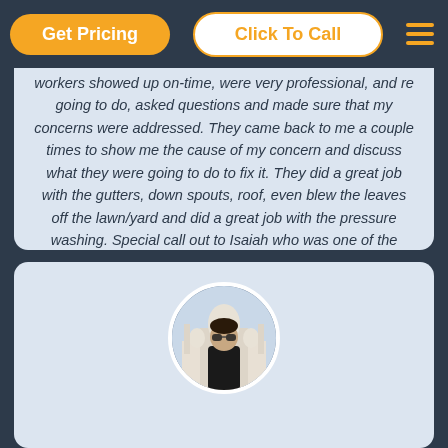[Figure (screenshot): Navigation bar with orange Get Pricing button, Click To Call button, and hamburger menu icon on dark blue background]
Workers showed up on-time, were very professional, and re going to do, asked questions and made sure that my concerns were addressed. They came back to me a couple times to show me the cause of my concern and discuss what they were going to do to fix it. They did a great job with the gutters, down spouts, roof, even blew the leaves off the lawn/yard and did a great job with the pressure washing. Special call out to Isaiah who was one of the workers that came to the house, amazing customer service, great personality.
[Figure (photo): Circular avatar photo of a person wearing sunglasses and a dark t-shirt, standing in front of a white building with domes (appears to be the Taj Mahal)]